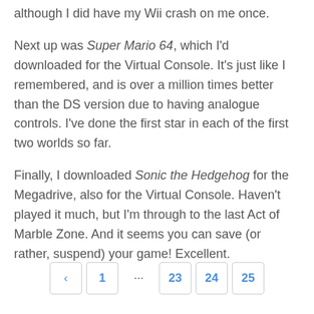although I did have my Wii crash on me once.
Next up was Super Mario 64, which I'd downloaded for the Virtual Console. It's just like I remembered, and is over a million times better than the DS version due to having analogue controls. I've done the first star in each of the first two worlds so far.
Finally, I downloaded Sonic the Hedgehog for the Megadrive, also for the Virtual Console. Haven't played it much, but I'm through to the last Act of Marble Zone. And it seems you can save (or rather, suspend) your game! Excellent.
< 1 ... 23 24 25